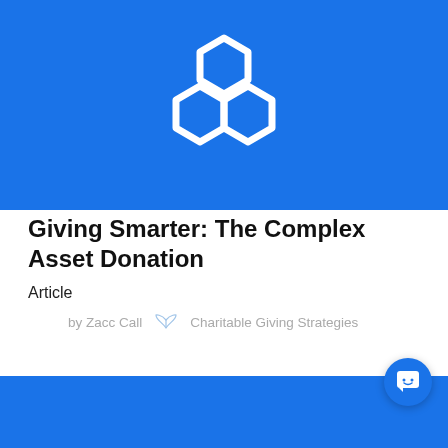[Figure (logo): Three white hexagons arranged in a honeycomb/cluster pattern on a blue background]
Giving Smarter: The Complex Asset Donation
Article
by Zacc Call   Charitable Giving Strategies
[Figure (illustration): Blue banner/footer at the bottom of the page with a circular chat button in the lower right corner]